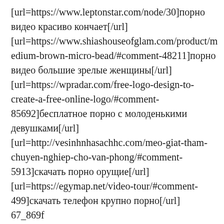[url=https://www.leptonstar.com/node/30]порно видео красиво кончает[/url]
[url=https://www.shiashouseofglam.com/product/medium-brown-micro-bead/#comment-48211]порно видео большие зрелые женщины[/url]
[url=https://wpradar.com/free-logo-design-to-create-a-free-online-logo/#comment-85692]бесплатное порно с молоденькими девушками[/url]
[url=http://vesinhnhasachhc.com/meo-giat-tham-chuyen-nghiep-cho-van-phong/#comment-5913]скачать порно орущие[/url]
[url=https://egymap.net/video-tour/#comment-499]скачать телефон крупно порно[/url]
67_869f